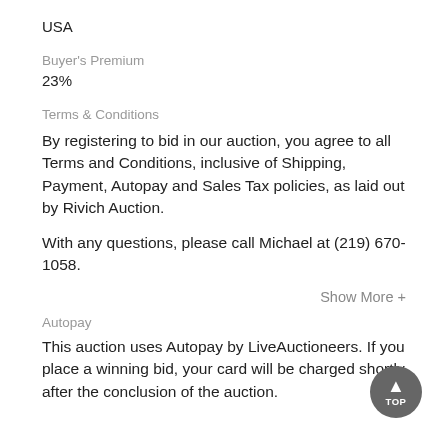USA
Buyer's Premium
23%
Terms & Conditions
By registering to bid in our auction, you agree to all Terms and Conditions, inclusive of Shipping, Payment, Autopay and Sales Tax policies, as laid out by Rivich Auction.
With any questions, please call Michael at (219) 670-1058.
Show More +
Autopay
This auction uses Autopay by LiveAuctioneers. If you place a winning bid, your card will be charged shortly after the conclusion of the auction.